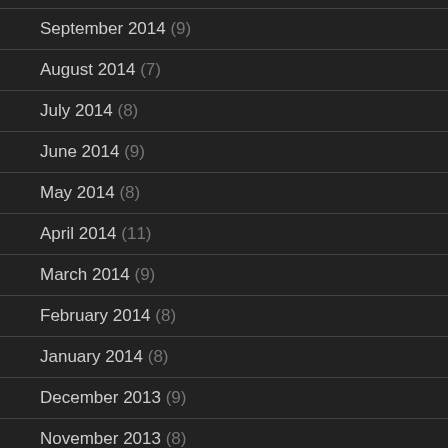September 2014 (9)
August 2014 (7)
July 2014 (8)
June 2014 (9)
May 2014 (8)
April 2014 (11)
March 2014 (9)
February 2014 (8)
January 2014 (8)
December 2013 (9)
November 2013 (8)